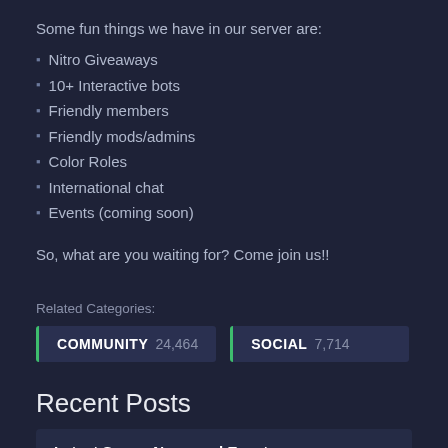Some fun things we have in our server are:
🔷 Nitro Giveaways
🔷 10+ Interactive bots
🔷 Friendly members
🔷 Friendly mods/admins
🔷 Color Roles
🔷 International chat
🔷 Events (coming soon)
So, what are you waiting for? Come join us!!
Related Categories:
COMMUNITY 24,464
SOCIAL 7,714
Recent Posts
Latest Server News and Events